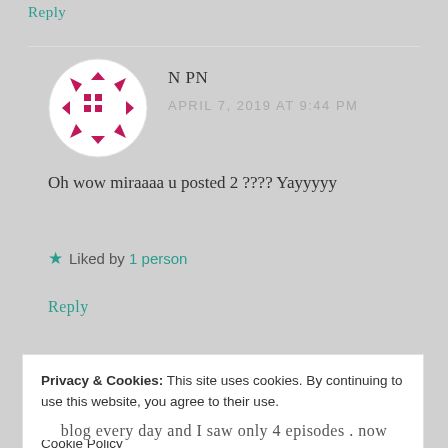Reply
[Figure (illustration): Circular avatar with pink/magenta arrow-like shapes and dot grid pattern on white background]
N PN
APRIL 7, 2019 AT 9:44 PM
Oh wow miraaaa u posted 2 ???? Yayyyyy
Liked by 1 person
Reply
Privacy & Cookies: This site uses cookies. By continuing to use this website, you agree to their use.
To find out more, including how to control cookies, see here: Cookie Policy
Close and accept
blog every day and I saw only 4 episodes . now